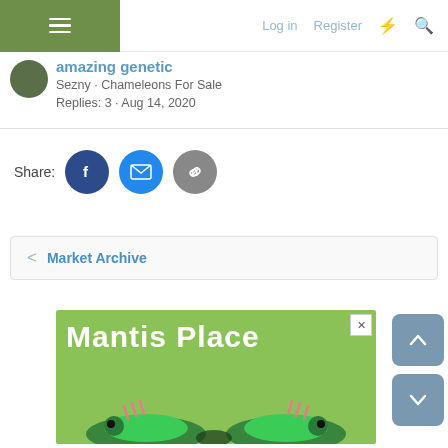Log in  Register
amazing genetic
Sezny · Chameleons For Sale
Replies: 3 · Aug 14, 2020
Share:
< Market Archive
[Figure (illustration): Advertisement banner for 'Mantis Place' with green background and cartoon mantis shrimp at the bottom. Has a close (X) button in the top right.]